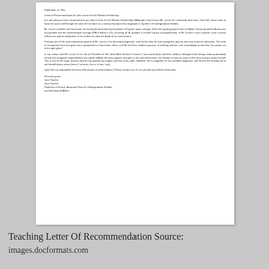[Figure (other): Scanned letter of recommendation document shown as a white page on gray background]
Teaching Letter Of Recommendation Source:
images.docformats.com